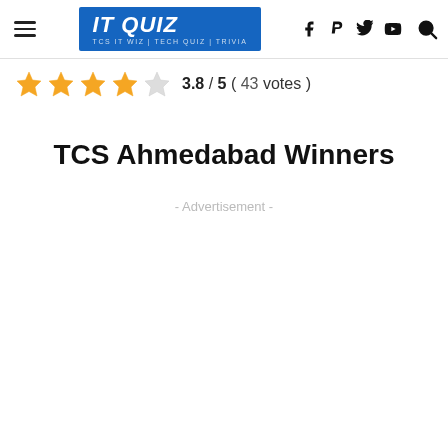IT QUIZ - TCS IT WIZ | TECH QUIZ | TRIVIA
3.8 / 5 ( 43 votes )
TCS Ahmedabad Winners
- Advertisement -